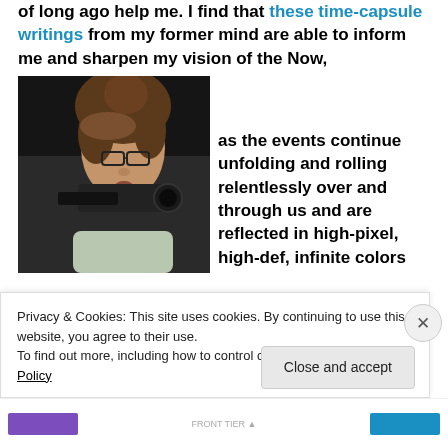of long ago help me. I find that these time-capsule writings from my former mind are able to inform me and sharpen my vision of the Now,
[Figure (photo): Person aiming a rifle or camera lens toward the viewer, dark background]
as the events continue unfolding and rolling relentlessly over and through us and are reflected in high-pixel, high-def, infinite colors
Privacy & Cookies: This site uses cookies. By continuing to use this website, you agree to their use.
To find out more, including how to control cookies, see here: Cookie Policy
Close and accept